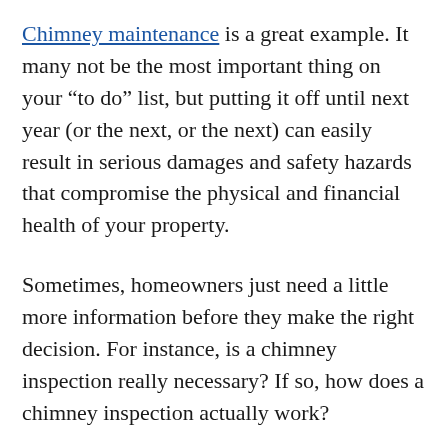Chimney maintenance is a great example. It many not be the most important thing on your “to do” list, but putting it off until next year (or the next, or the next) can easily result in serious damages and safety hazards that compromise the physical and financial health of your property.
Sometimes, homeowners just need a little more information before they make the right decision. For instance, is a chimney inspection really necessary? If so, how does a chimney inspection actually work?
Good questions. The answer, of course, depends on the nature and design of your chimney. Regular chimney inspections are recommended across the